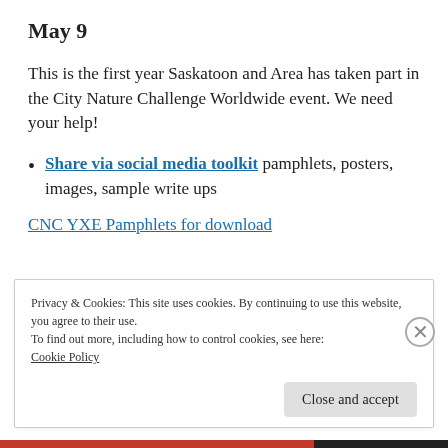May 9
This is the first year Saskatoon and Area has taken part in the City Nature Challenge Worldwide event. We need your help!
Share via social media toolkit pamphlets, posters, images, sample write ups
CNC YXE Pamphlets for download
Privacy & Cookies: This site uses cookies. By continuing to use this website, you agree to their use.
To find out more, including how to control cookies, see here:
Cookie Policy
Close and accept